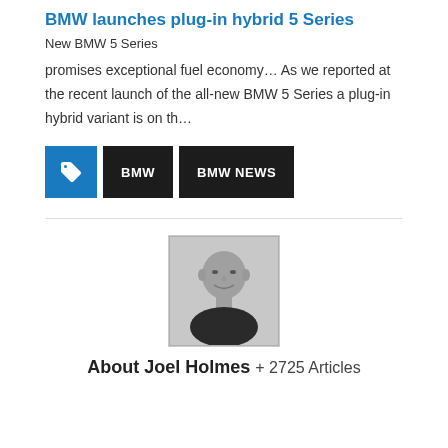BMW launches plug-in hybrid 5 Series New BMW 5 Series promises exceptional fuel economy… As we reported at the recent launch of the all-new BMW 5 Series a plug-in hybrid variant is on th…
promises exceptional fuel economy… As we reported at the recent launch of the all-new BMW 5 Series a plug-in hybrid variant is on th…
BMW
BMW NEWS
[Figure (photo): Black and white portrait photo of a bald man smiling slightly, wearing a dark top]
About Joel Holmes + 2725 Articles